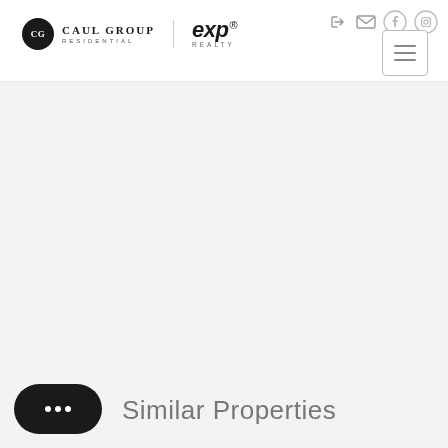[Figure (logo): Caul Group Residential logo with black circle monogram and eXp Realty logo]
[Figure (other): Navigation icons: sign-in, email, facebook, instagram (top right), and hamburger menu button]
[Figure (other): Large gray content area, mostly empty]
[Figure (other): Black rounded chat bubble button with three dots]
Similar Properties